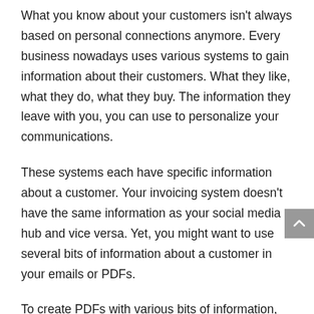What you know about your customers isn't always based on personal connections anymore. Every business nowadays uses various systems to gain information about their customers. What they like, what they do, what they buy. The information they leave with you, you can use to personalize your communications.
These systems each have specific information about a customer. Your invoicing system doesn't have the same information as your social media hub and vice versa. Yet, you might want to use several bits of information about a customer in your emails or PDFs.
To create PDFs with various bits of information, you need to use so-called APIs. APIs allow you to retrieve